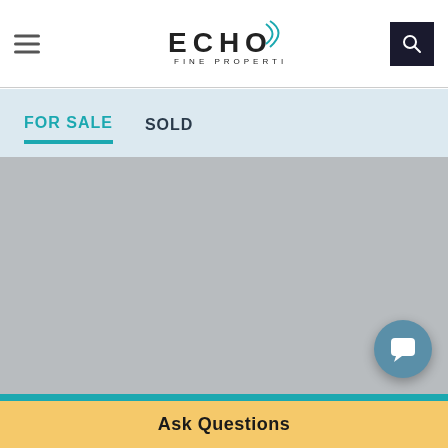ECHO FINE PROPERTIES
FOR SALE  SOLD
[Figure (screenshot): Gray map/image placeholder area occupying the main content section of the page]
Ask Questions